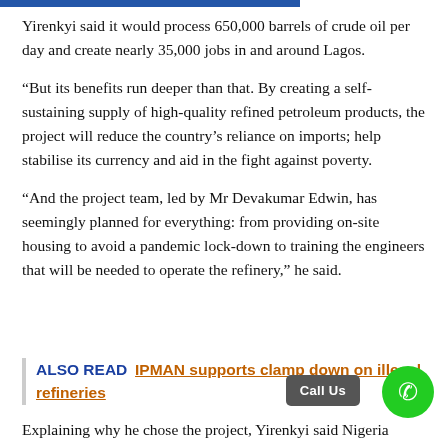Yirenkyi said it would process 650,000 barrels of crude oil per day and create nearly 35,000 jobs in and around Lagos.
“But its benefits run deeper than that. By creating a self-sustaining supply of high-quality refined petroleum products, the project will reduce the country’s reliance on imports; help stabilise its currency and aid in the fight against poverty.
“And the project team, led by Mr Devakumar Edwin, has seemingly planned for everything: from providing on-site housing to avoid a pandemic lock-down to training the engineers that will be needed to operate the refinery,” he said.
ALSO READ  IPMAN supports clamp down on illegal refineries
Explaining why he chose the project, Yirenkyi said Nigeria